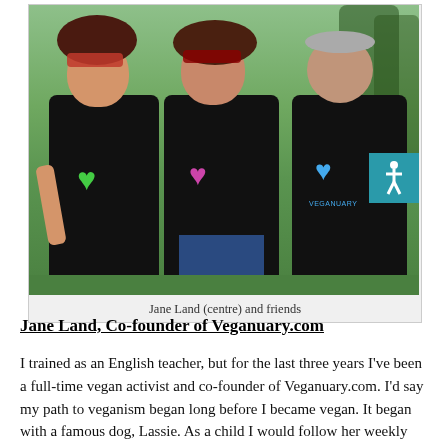[Figure (photo): Three people wearing black Veganuary t-shirts with heart logos (green, pink, blue) standing together outdoors on grass, all smiling. Two women and one man.]
Jane Land (centre) and friends
Jane Land, Co-founder of Veganuary.com
I trained as an English teacher, but for the last three years I've been a full-time vegan activist and co-founder of Veganuary.com. I'd say my path to veganism began long before I became vegan. It began with a famous dog, Lassie. As a child I would follow her weekly escapades and it was during these